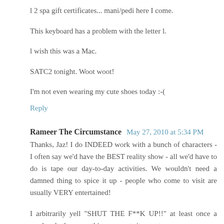l 2 spa gift certificates... mani/pedi here I come.
This keyboard has a problem with the letter l.
l wish this was a Mac.
SATC2 tonight. Woot woot!
I'm not even wearing my cute shoes today :-(
Reply
Rameer The Circumstance  May 27, 2010 at 5:34 PM
Thanks, Jaz! I do INDEED work with a bunch of characters - I often say we'd have the BEST reality show - all we'd have to do is tape our day-to-day activities. We wouldn't need a damned thing to spice it up - people who come to visit are usually VERY entertained!
I arbitrarily yell "SHUT THE F**K UP!!" at least once a week, whether something warrants it or not...